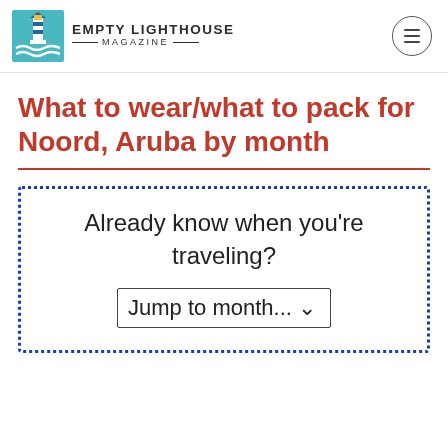EMPTY LIGHTHOUSE MAGAZINE
What to wear/what to pack for Noord, Aruba by month
Already know when you're traveling? Jump to month...